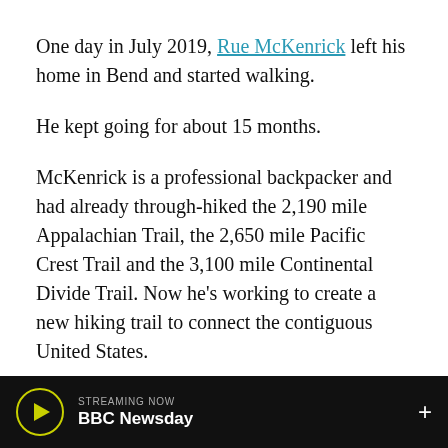One day in July 2019, Rue McKenrick left his home in Bend and started walking.
He kept going for about 15 months.
McKenrick is a professional backpacker and had already through-hiked the 2,190 mile Appalachian Trail, the 2,650 mile Pacific Crest Trail and the 3,100 mile Continental Divide Trail. Now he’s working to create a new hiking trail to connect the contiguous United States.
According to McKenrick, the American Perimeter Trail will be more than 14,000 miles long once developed. He set out to hike the whole thing and
STREAMING NOW BBC Newsday